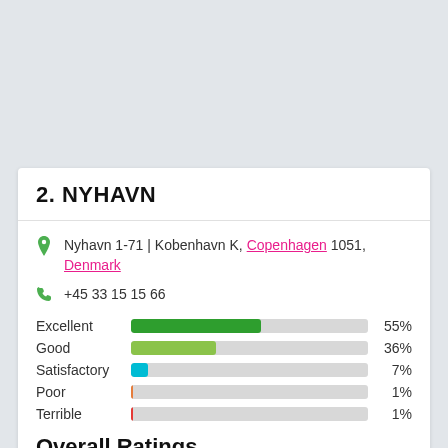2. NYHAVN
Nyhavn 1-71 | Kobenhavn K, Copenhagen 1051, Denmark
+45 33 15 15 66
[Figure (bar-chart): Rating distribution]
Overall Ratings